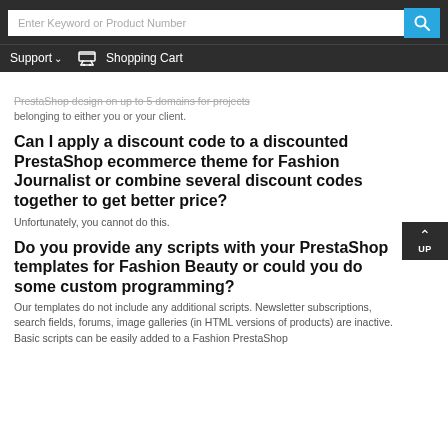Enter Keyword or Product Number | Support | Shopping Cart
PrestaShop design on up to 5 domains for projects belonging to either you or your client.
Can I apply a discount code to a discounted PrestaShop ecommerce theme for Fashion Journalist or combine several discount codes together to get better price?
Unfortunately, you cannot do this.
Do you provide any scripts with your PrestaShop templates for Fashion Beauty or could you do some custom programming?
Our templates do not include any additional scripts. Newsletter subscriptions, search fields, forums, image galleries (in HTML versions of products) are inactive. Basic scripts can be easily added to a Fashion PrestaShop